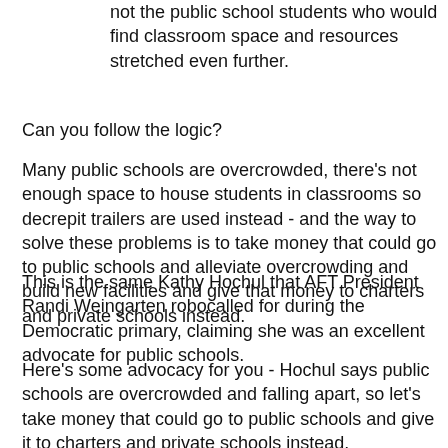not the public school students who would find classroom space and resources stretched even further.
Can you follow the logic?
Many public schools are overcrowded, there's not enough space to house students in classrooms so decrepit trailers are used instead - and the way to solve these problems is to take money that could go to public schools and alleviate overcrowding and build new facilities and give that money to charters and private schools instead.
This is the same Kathy Hochul that AFT President Randi Weingarten robocalled for during the Democratic primary, claiming she was an excellent advocate for public schools.
Here's some advocacy for you - Hochul says public schools are overcrowded and falling apart, so let's take money that could go to public schools and give it to charters and private schools instead.